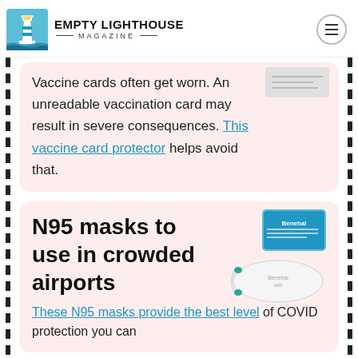Empty Lighthouse Magazine
Vaccine cards often get worn. An unreadable vaccination card may result in severe consequences. This vaccine card protector helps avoid that.
N95 masks to use in crowded airports
[Figure (photo): Box of Benehal N95 masks with a white N95 mask in front]
These N95 masks provide the best level of COVID protection you can